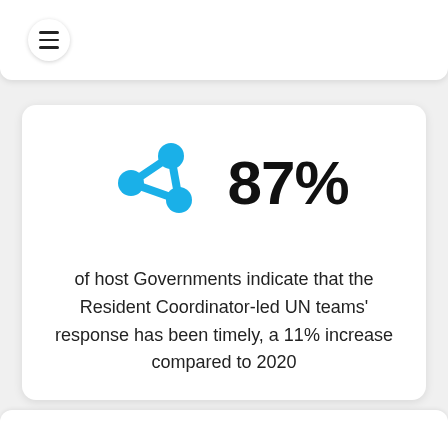[Figure (infographic): Blue network/share icon with three connected nodes forming a triangle shape]
87%
of host Governments indicate that the Resident Coordinator-led UN teams' response has been timely, a 11% increase compared to 2020